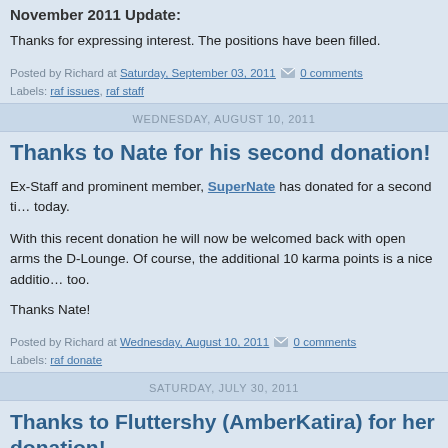November 2011 Update:
Thanks for expressing interest. The positions have been filled.
Posted by Richard at Saturday, September 03, 2011  0 comments
Labels: raf issues, raf staff
WEDNESDAY, AUGUST 10, 2011
Thanks to Nate for his second donation!
Ex-Staff and prominent member, SuperNate has donated for a second time today.
With this recent donation he will now be welcomed back with open arms the D-Lounge. Of course, the additional 10 karma points is a nice addition too.
Thanks Nate!
Posted by Richard at Wednesday, August 10, 2011  0 comments
Labels: raf donate
SATURDAY, JULY 30, 2011
Thanks to Fluttershy (AmberKatira) for her donation!
Just when I was about to make my monthly plea for donations, AmberKatira has decided that it's time to h